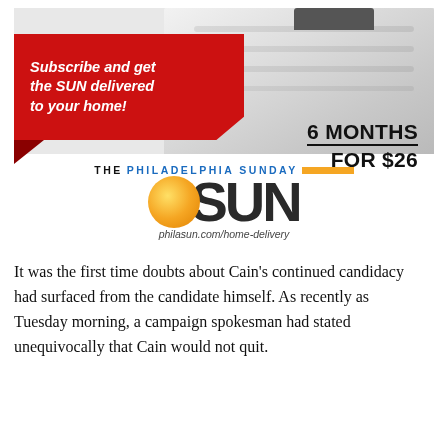[Figure (illustration): Advertisement for The Philadelphia Sunday SUN newspaper. Shows a red banner with text 'Subscribe and get the SUN delivered to your home!' with a stacked newspaper image and '6 MONTHS FOR $26' offer. Features the Philadelphia Sunday SUN logo with orange sun circle and URL philasun.com/home-delivery.]
It was the first time doubts about Cain's continued candidacy had surfaced from the candidate himself. As recently as Tuesday morning, a campaign spokesman had stated unequivocally that Cain would not quit.